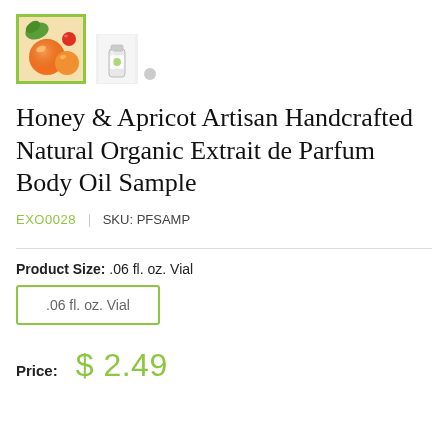[Figure (photo): Two product thumbnail images: first showing fruit/apricot product photo with green border (selected), second showing a small vial product image]
Honey & Apricot Artisan Handcrafted Natural Organic Extrait de Parfum Body Oil Sample
EXO0028 | SKU: PFSAMP
Product Size: .06 fl. oz. Vial
.06 fl. oz. Vial
Price: $ 2.49